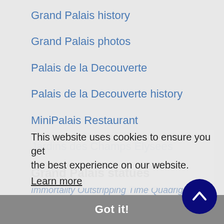Grand Palais history
Grand Palais photos
Palais de la Decouverte
Palais de la Decouverte history
MiniPalais Restaurant
Jardins des Champs Elysees
Grand Palais statues
Immortality Outstripping Time Quadrigas
This website uses cookies to ensure you get the best experience on our website.
Learn more
The Art
l'Art Industriel
l'Art Decoratif
L'Art Asiatique
Got it!